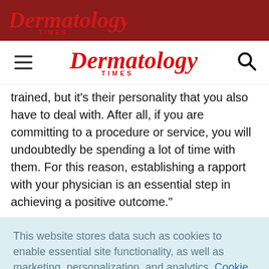Dermatology Times
Dermatology Times (navigation bar with hamburger menu and search icon)
trained, but it's their personality that you also have to deal with. After all, if you are committing to a procedure or service, you will undoubtedly be spending a lot of time with them. For this reason, establishing a rapport with your physician is an essential step in achieving a positive outcome."
This website stores data such as cookies to enable essential site functionality, as well as marketing, personalization, and analytics. Cookie Policy
Accept
Deny